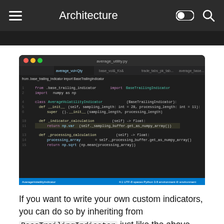Architecture
[Figure (screenshot): Dark-themed code editor (VS Code style) showing a Python file 'average_utility.py'. Code defines AverageVolatilityIndicator inheriting from BaseTrailingIndicator with __init__, _indicator_calculation, and _processing_calculation methods using numpy.]
If you want to write your own custom indicators, you can do so by inheriting from BaseTrailingIndicator just like the above, and writing your own sampling and calculation logic.